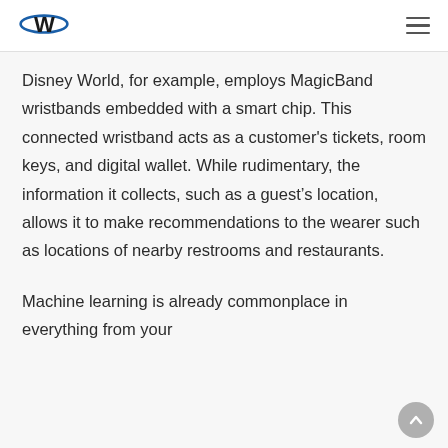W [logo]
Disney World, for example, employs MagicBand wristbands embedded with a smart chip. This connected wristband acts as a customer's tickets, room keys, and digital wallet. While rudimentary, the information it collects, such as a guest's location, allows it to make recommendations to the wearer such as locations of nearby restrooms and restaurants.
Machine learning is already commonplace in everything from your